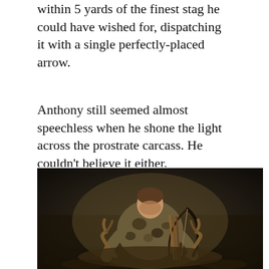within 5 yards of the finest stag he could have wished for, dispatching it with a single perfectly-placed arrow.
Anthony still seemed almost speechless when he shone the light across the prostrate carcass. He couldn't believe it either.
[Figure (photo): A young man in camouflage clothing kneeling over a deer carcass at night, holding a bow, with antlers visible in the foreground.]